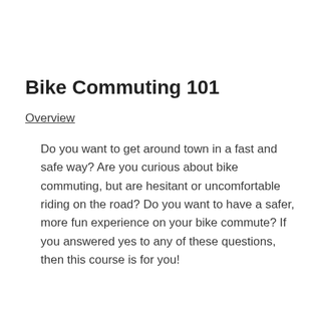Bike Commuting 101
Overview
Do you want to get around town in a fast and safe way? Are you curious about bike commuting, but are hesitant or uncomfortable riding on the road? Do you want to have a safer, more fun experience on your bike commute? If you answered yes to any of these questions, then this course is for you!